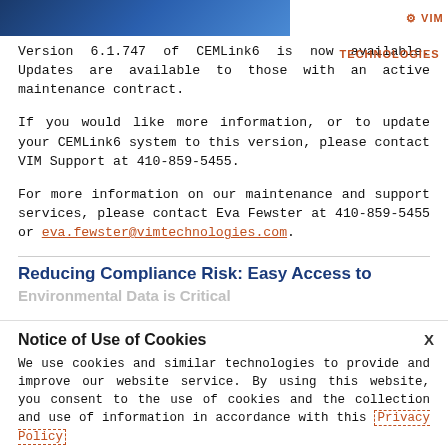[Figure (screenshot): Header banner with dark blue gradient bar and VIM Technologies logo on the right]
Version 6.1.747 of CEMLink6 is now available. Updates are available to those with an active maintenance contract.
If you would like more information, or to update your CEMLink6 system to this version, please contact VIM Support at 410-859-5455.
For more information on our maintenance and support services, please contact Eva Fewster at 410-859-5455 or eva.fewster@vimtechnologies.com.
Reducing Compliance Risk: Easy Access to Environmental Data is Critical
Notice of Use of Cookies
We use cookies and similar technologies to provide and improve our website service. By using this website, you consent to the use of cookies and the collection and use of information in accordance with this Privacy Policy